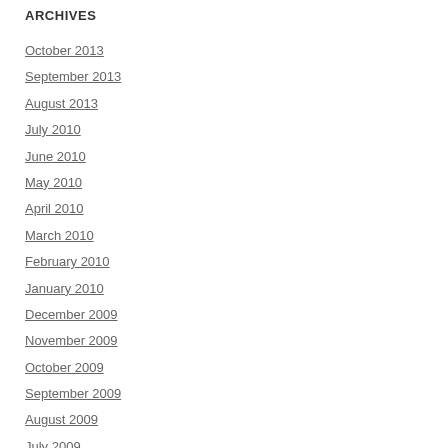ARCHIVES
October 2013
September 2013
August 2013
July 2010
June 2010
May 2010
April 2010
March 2010
February 2010
January 2010
December 2009
November 2009
October 2009
September 2009
August 2009
July 2009
June 2009